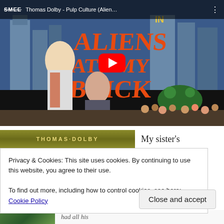[Figure (screenshot): YouTube video embed showing Thomas Dolby - Pulp Culture (Aliens Ate My Buick) movie poster thumbnail with red play button, SMEE channel logo, and video title in top bar]
[Figure (screenshot): Thomas Dolby olive/gold banner with stylized text 'THOMAS·DOLBY' and partial blog content showing 'My sister's']
Privacy & Cookies: This site uses cookies. By continuing to use this website, you agree to their use.
To find out more, including how to control cookies, see here: Cookie Policy
Close and accept
[Figure (screenshot): Bottom strip showing partial thumbnail image and italic text 'had all his']